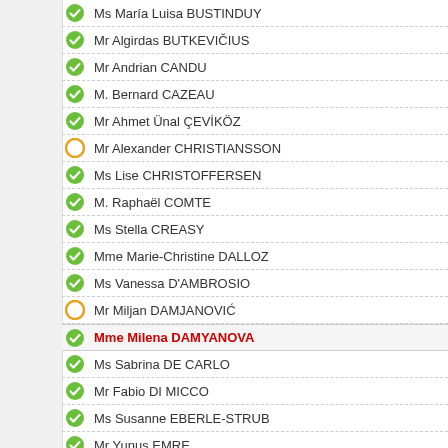Ms María Luisa BUSTINDUY
Mr Algirdas BUTKEVIČIUS
Mr Andrian CANDU
M. Bernard CAZEAU
Mr Ahmet Ünal ÇEVİKÖZ
Mr Alexander CHRISTIANSSON
Ms Lise CHRISTOFFERSEN
M. Raphaël COMTE
Ms Stella CREASY
Mme Marie-Christine DALLOZ
Ms Vanessa D'AMBROSIO
Mr Miljan DAMJANOVIĆ
Mme Milena DAMYANOVA
Ms Sabrina DE CARLO
Mr Fabio DI MICCO
Ms Susanne EBERLE-STRUB
Mr Yunus EMRE